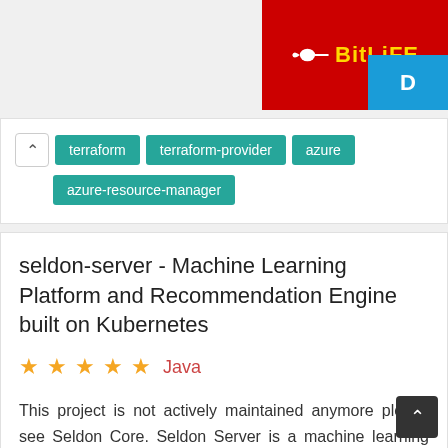[Figure (screenshot): BitLife advertisement banner with red background, sperm icon, yellow BitLife text, and blue tab showing 'D']
terraform
terraform-provider
azure
azure-resource-manager
seldon-server - Machine Learning Platform and Recommendation Engine built on Kubernetes
★★★★★  Java
This project is not actively maintained anymore please see Seldon Core. Seldon Server is a machine learning platform that helps your data science team deploy models into production.
machine-learning
deep-learning
deployment